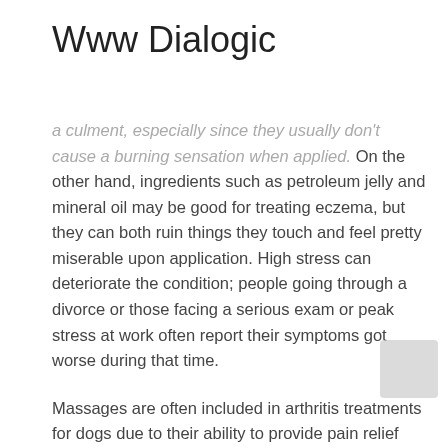Www Dialogic
a culment, especially since they usually don't cause a burning sensation when applied. On the other hand, ingredients such as petroleum jelly and mineral oil may be good for treating eczema, but they can both ruin things they touch and feel pretty miserable upon application. High stress can deteriorate the condition; people going through a divorce or those facing a serious exam or peak stress at work often report their symptoms got worse during that time.
Massages are often included in arthritis treatments for dogs due to their ability to provide pain relief and stress. High-quality CBD oil can greatly improve the quality of your dog's life, especially when it comes to aging dogs and those suffering from arthritis. Mobility issues and chronic pain are common in senior dogs, but they can actually happen at any age. Products listed on this site have not been evaluated by the Food and Drug